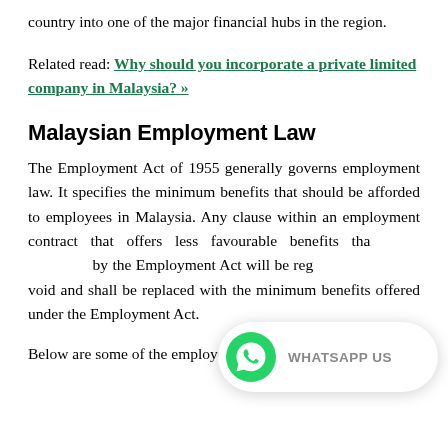country into one of the major financial hubs in the region.
Related read: Why should you incorporate a private limited company in Malaysia? »
Malaysian Employment Law
The Employment Act of 1955 generally governs employment law. It specifies the minimum benefits that should be afforded to employees in Malaysia. Any clause within an employment contract that offers less favourable benefits than those stipulated by the Employment Act will be regarded as null and void and shall be replaced with the minimum benefits offered under the Employment Act.
Below are some of the employer's statutory